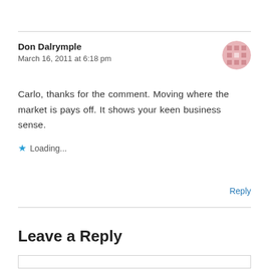Don Dalrymple
March 16, 2011 at 6:18 pm
Carlo, thanks for the comment. Moving where the market is pays off. It shows your keen business sense.
Loading...
Reply
Leave a Reply